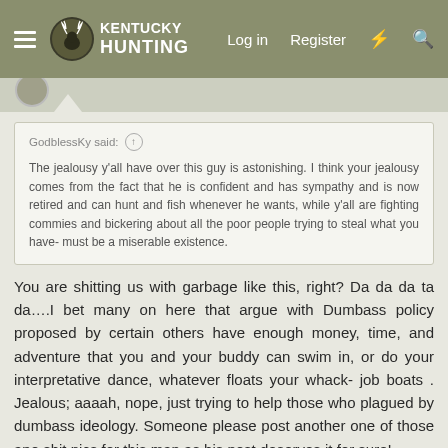Kentucky Hunting — Log in  Register
GodblessKy said: ↑

The jealousy y'all have over this guy is astonishing. I think your jealousy comes from the fact that he is confident and has sympathy and is now retired and can hunt and fish whenever he wants, while y'all are fighting commies and bickering about all the poor people trying to steal what you have- must be a miserable existence.
You are shitting us with garbage like this, right? Da da da ta da….I bet many on here that argue with Dumbass policy proposed by certain others have enough money, time, and adventure that you and your buddy can swim in, or do your interpretative dance, whatever floats your whack- job boats . Jealous; aaaah, nope, just trying to help those who plagued by dumbass ideology. Someone please post another one of those ape shit pics for this man as his post deserves it for sure!